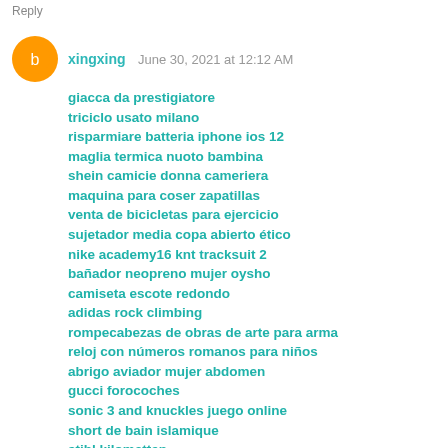Reply
xingxing   June 30, 2021 at 12:12 AM
giacca da prestigiatore
triciclo usato milano
risparmiare batteria iphone ios 12
maglia termica nuoto bambina
shein camicie donna cameriera
maquina para coser zapatillas
venta de bicicletas para ejercicio
sujetador media copa abierto ético
nike academy16 knt tracksuit 2
bañador neopreno mujer oysho
camiseta escote redondo
adidas rock climbing
rompecabezas de obras de arte para arma
reloj con números romanos para niños
abrigo aviador mujer abdomen
gucci forocoches
sonic 3 and knuckles juego online
short de bain islamique
stihl kilometten